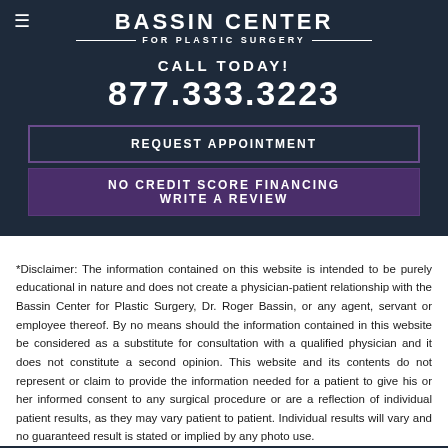BASSIN CENTER FOR PLASTIC SURGERY
CALL TODAY!
877.333.3223
REQUEST APPOINTMENT
NO CREDIT SCORE FINANCING
WRITE A REVIEW
*Disclaimer: The information contained on this website is intended to be purely educational in nature and does not create a physician-patient relationship with the Bassin Center for Plastic Surgery, Dr. Roger Bassin, or any agent, servant or employee thereof. By no means should the information contained in this website be considered as a substitute for consultation with a qualified physician and it does not constitute a second opinion. This website and its contents do not represent or claim to provide the information needed for a patient to give his or her informed consent to any surgical procedure or are a reflection of individual patient results, as they may vary patient to patient. Individual results will vary and no guaranteed result is stated or implied by any photo use.